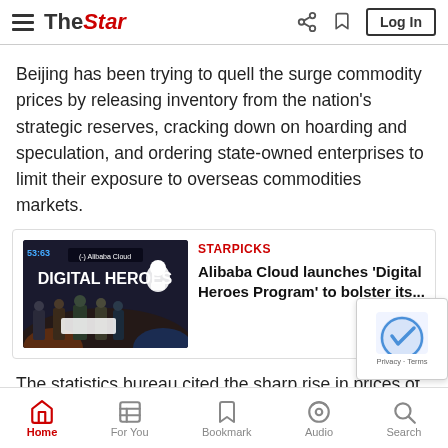The Star — Log In
Beijing has been trying to quell the surge commodity prices by releasing inventory from the nation's strategic reserves, cracking down on hoarding and speculation, and ordering state-owned enterprises to limit their exposure to overseas commodities markets.
[Figure (photo): Alibaba Cloud Digital Heroes event photo with people on stage]
STARPICKS
Alibaba Cloud launches 'Digital Heroes Program' to bolster its...
The statistics bureau cited the sharp rise in prices of crude oil...
Home | For You | Bookmark | Audio | Search